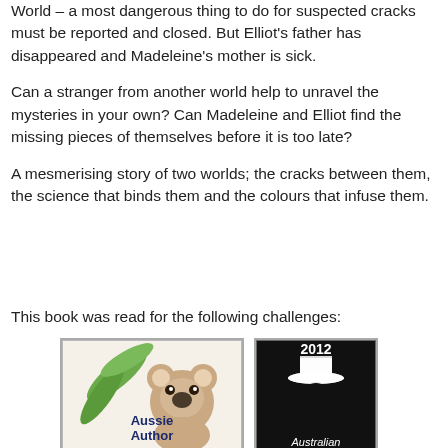World – a most dangerous thing to do for suspected cracks must be reported and closed. But Elliot's father has disappeared and Madeleine's mother is sick.
Can a stranger from another world help to unravel the mysteries in your own? Can Madeleine and Elliot find the missing pieces of themselves before it is too late?
A mesmerising story of two worlds; the cracks between them, the science that binds them and the colours that infuse them.
This book was read for the following challenges:
[Figure (illustration): Aussie Author challenge badge featuring a koala and eucalyptus leaves]
[Figure (illustration): 2012 Australian challenge badge with a silhouette of a person in a hat]